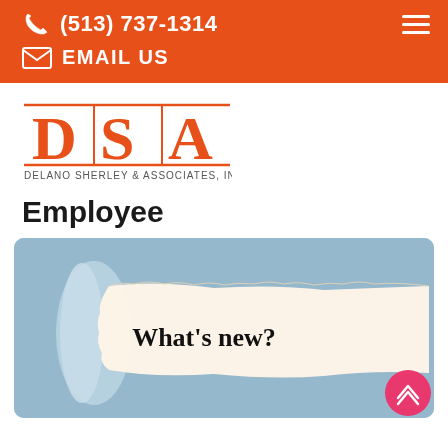(513) 737-1314 | EMAIL US
[Figure (logo): DSA Delano Sherley & Associates, Inc logo in orange]
Employee
[Figure (photo): Torn blue paper revealing white sheet with text 'What’s new?']